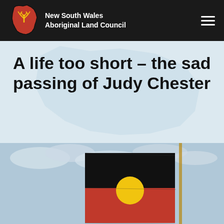New South Wales Aboriginal Land Council
A life too short – the sad passing of Judy Chester
[Figure (photo): Aboriginal flag flying against a cloudy sky, showing the black top half, red bottom half, and yellow circle in the centre]